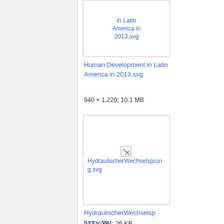[Figure (screenshot): Thumbnail box showing link text 'Human Development in Latin America in 2013.svg' partially visible at top]
Human Development in Latin America in 2013.svg
940 × 1,220; 10.1 MB
[Figure (screenshot): Thumbnail box with broken image icon and link text 'HydraulischerWechselsprung.svg']
HydraulischerWechselsprung.svg
512 × 384; 26 KB
[Figure (screenshot): Partial thumbnail box visible at bottom of page]